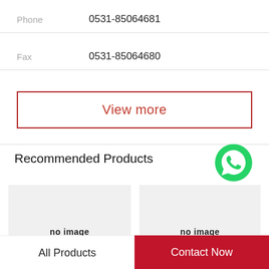Phone   0531-85064681
Fax   0531-85064680
View more
Recommended Products
[Figure (other): WhatsApp Online badge with green phone icon]
[Figure (other): Product placeholder - no image (left)]
[Figure (other): Product placeholder - no image (right)]
All Products
Contact Now